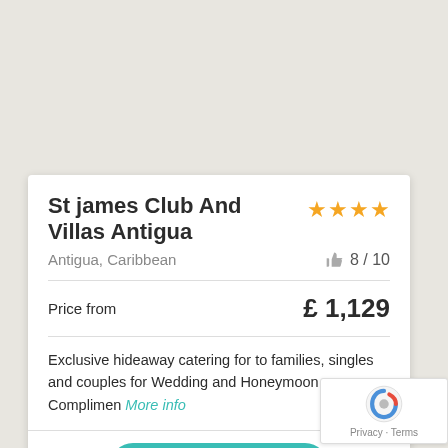[Figure (map): Light beige/grey map background area]
St james Club And Villas Antigua
★★★★
Antigua, Caribbean
👍 8 / 10
Price from
£ 1,129
Exclusive hideaway catering for to families, singles and couples for Wedding and Honeymoon Complimen More info
BOOK NOW